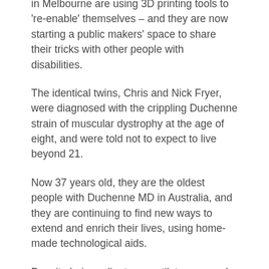in Melbourne are using 3D printing tools to 're-enable' themselves – and they are now starting a public makers' space to share their tricks with other people with disabilities.
The identical twins, Chris and Nick Fryer, were diagnosed with the crippling Duchenne strain of muscular dystrophy at the age of eight, and were told not to expect to live beyond 21.
Now 37 years old, they are the oldest people with Duchenne MD in Australia, and they are continuing to find new ways to extend and enrich their lives, using home-made technological aids.
Despite being reliant on ventilators around the clock, with movement restricted to their mouths and fingertips, the brothers have made their own robots, drones, wheelchair support frames and computer aids.
"We've always been interested in technology,